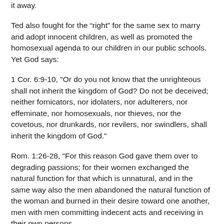it away.
Ted also fought for the “right” for the same sex to marry and adopt innocent children, as well as promoted the homosexual agenda to our children in our public schools.  Yet God says:
1 Cor. 6:9-10, "Or do you not know that the unrighteous shall not inherit the kingdom of God? Do not be deceived; neither fornicators, nor idolaters, nor adulterers, nor effeminate, nor homosexuals, nor thieves, nor the covetous, nor drunkards, nor revilers, nor swindlers, shall inherit the kingdom of God."
Rom. 1:26-28, "For this reason God gave them over to degrading passions; for their women exchanged the natural function for that which is unnatural, and in the same way also the men abandoned the natural function of the woman and burned in their desire toward one another, men with men committing indecent acts and receiving in their own persons